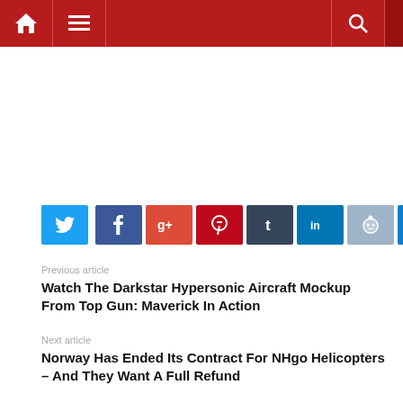Navigation bar with home, menu, and search icons
[Figure (other): Social share buttons row: Twitter, Facebook, Google+, Pinterest, Tumblr, LinkedIn, Reddit, Email]
Previous article
Watch The Darkstar Hypersonic Aircraft Mockup From Top Gun: Maverick In Action
Next article
Norway Has Ended Its Contract For NHgo Helicopters – And They Want A Full Refund